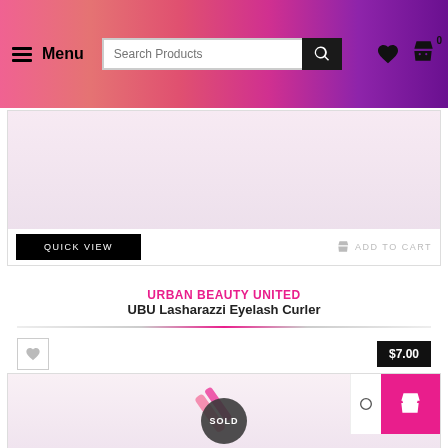Menu | Search Products | [heart icon] [cart icon 0]
[Figure (screenshot): Product image area for UBU Lasharazzi Eyelash Curler - light pink background with Quick View and Add to Cart buttons]
URBAN BEAUTY UNITED
UBU Lasharazzi Eyelash Curler
$7.00
[Figure (screenshot): Second product card showing pink nail file/beauty tool with SOLD badge overlay and pink action button with shopping bag icon]